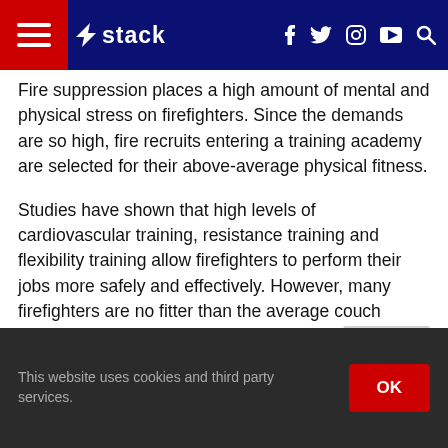stack — navigation bar with hamburger menu, logo, social icons (f, Twitter, Instagram, YouTube), search
Fire suppression places a high amount of mental and physical stress on firefighters. Since the demands are so high, fire recruits entering a training academy are selected for their above-average physical fitness.
Studies have shown that high levels of cardiovascular training, resistance training and flexibility training allow firefighters to perform their jobs more safely and effectively. However, many firefighters are no fitter than the average couch potato. In fact, some firefighters are overweight and have high levels of cholesterol, which can potentially lead to cardiac disease.
[Figure (screenshot): Close Ad button and advertisement strip with sports imagery]
This website uses cookies and third party services. OK